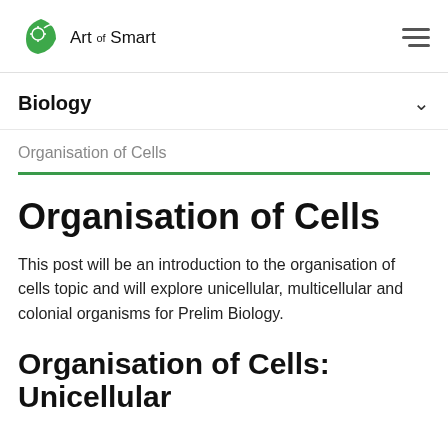Art of Smart
Biology
Organisation of Cells
Organisation of Cells
This post will be an introduction to the organisation of cells topic and will explore unicellular, multicellular and colonial organisms for Prelim Biology.
Organisation of Cells: Unicellular